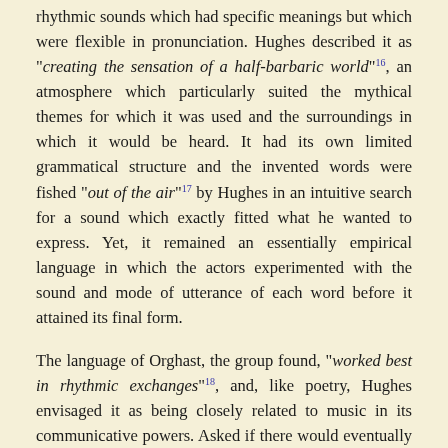rhythmic sounds which had specific meanings but which were flexible in pronunciation. Hughes described it as "creating the sensation of a half-barbaric world"16, an atmosphere which particularly suited the mythical themes for which it was used and the surroundings in which it would be heard. It had its own limited grammatical structure and the invented words were fished "out of the air"17 by Hughes in an intuitive search for a sound which exactly fitted what he wanted to express. Yet, it remained an essentially empirical language in which the actors experimented with the sound and mode of utterance of each word before it attained its final form.
The language of Orghast, the group found, "worked best in rhythmic exchanges"18, and, like poetry, Hughes envisaged it as being closely related to music in its communicative powers. Asked if there would eventually be a dictionary for Orghast, he replied: "Where is the dictionary of music? There is one – in your body"19.
In explication of his views, he told Anthony